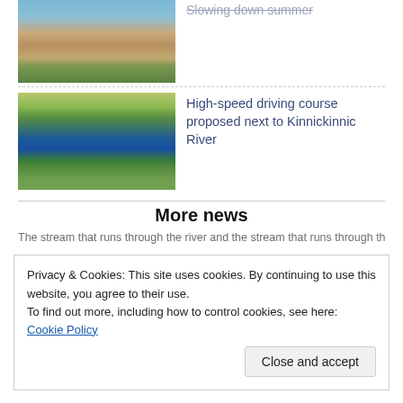[Figure (photo): River or stream scene with trees and cloudy sky, brownish water]
[Figure (photo): Clear blue stream winding through green marshland and grasses]
High-speed driving course proposed next to Kinnickinnic River
More news
Privacy & Cookies: This site uses cookies. By continuing to use this website, you agree to their use.
To find out more, including how to control cookies, see here: Cookie Policy
Close and accept